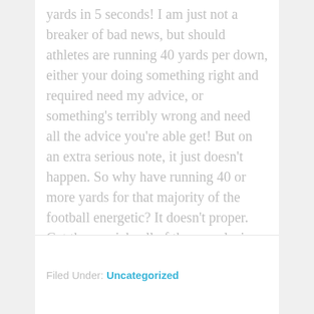yards in 5 seconds! I am just not a breaker of bad news, but should athletes are running 40 yards per down, either your doing something right and required need my advice, or something's terribly wrong and need all the advice you're able get! But on an extra serious note, it just doesn't happen. So why have running 40 or more yards for that majority of the football energetic? It doesn't proper. Get them quick, all of them explosive. You can rewarding yourself and the scoreboard a person know they.
Filed Under: Uncategorized